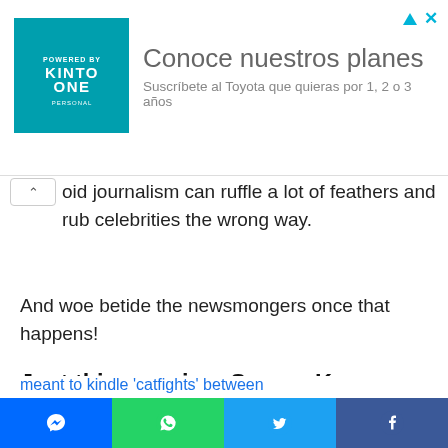[Figure (other): Advertisement banner for KINTO ONE featuring teal logo square with 'KINTO ONE' branding and text 'Conoce nuestros planes / Suscríbete al Toyota que quieras por 1, 2 o 3 años']
oid journalism can ruffle a lot of feathers and rub celebrities the wrong way.
And woe betide the newsmongers once that happens!
Just this morning, Sonam Kapoor lambasted entertainment news websites for publishing 'blind items'
meant to kindle 'catfights' between actresses